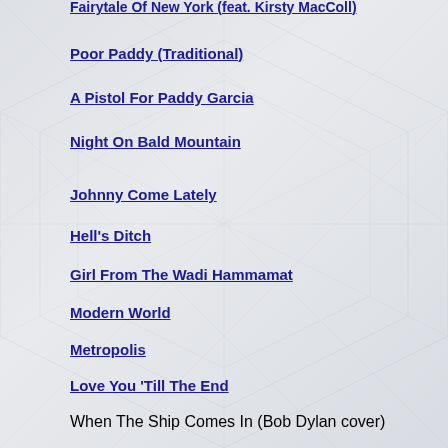Fairytale Of New York (feat. Kirsty MacColl)
Poor Paddy (Traditional)
A Pistol For Paddy Garcia
Night On Bald Mountain
Johnny Come Lately
Hell's Ditch
Girl From The Wadi Hammamat
Modern World
Metropolis
Love You 'Till The End
When The Ship Comes In (Bob Dylan cover)
Drunken Boat
Medley: The Recruiting Sergeant/The Rocky Road To Dublin/The Galway Races (Traditional)
Streams Of Whiskey